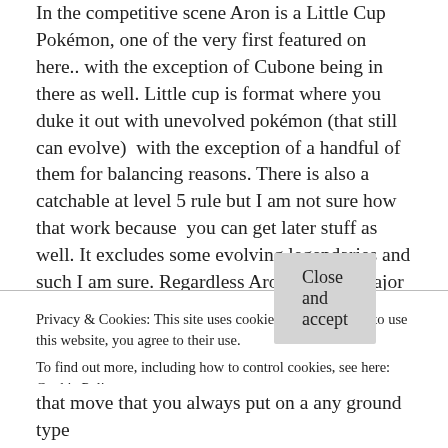In the competitive scene Aron is a Little Cup Pokémon, one of the very first featured on here.. with the exception of Cubone being in there as well. Little cup is format where you duke it out with unevolved pokémon (that still can evolve)  with the exception of a handful of them for balancing reasons. There is also a catchable at level 5 rule but I am not sure how that work because  you can get later stuff as well. It excludes some evolving legendaries and such I am sure. Regardless Aron has two major uses in battle. You can use it to set up hazards like stealth rock and sand storm or it can be used as a physical sweeper. The physical sweeper set
Privacy & Cookies: This site uses cookies. By continuing to use this website, you agree to their use.
To find out more, including how to control cookies, see here: Cookie Policy
Close and accept
that move that you always put on a any ground type